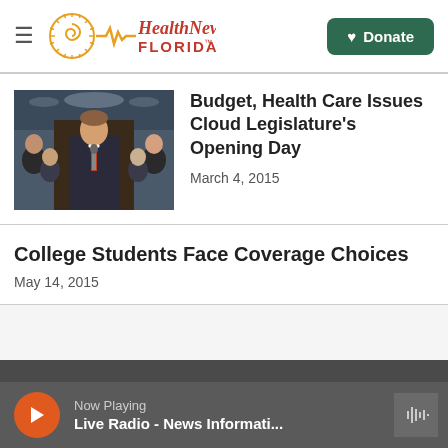Health News Florida
Budget, Health Care Issues Cloud Legislature's Opening Day
March 4, 2015
College Students Face Coverage Choices
May 14, 2015
Now Playing
Live Radio - News Informati...